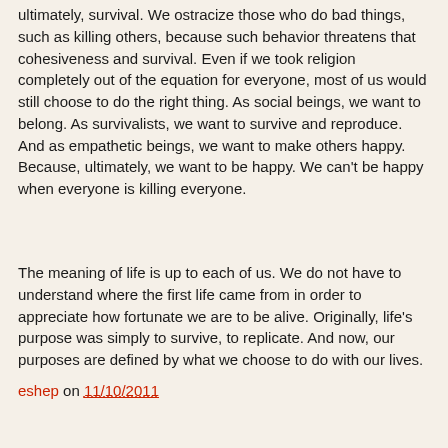ultimately, survival. We ostracize those who do bad things, such as killing others, because such behavior threatens that cohesiveness and survival. Even if we took religion completely out of the equation for everyone, most of us would still choose to do the right thing. As social beings, we want to belong. As survivalists, we want to survive and reproduce. And as empathetic beings, we want to make others happy. Because, ultimately, we want to be happy. We can't be happy when everyone is killing everyone.
The meaning of life is up to each of us. We do not have to understand where the first life came from in order to appreciate how fortunate we are to be alive. Originally, life's purpose was simply to survive, to replicate. And now, our purposes are defined by what we choose to do with our lives.
eshep on 11/10/2011
Share